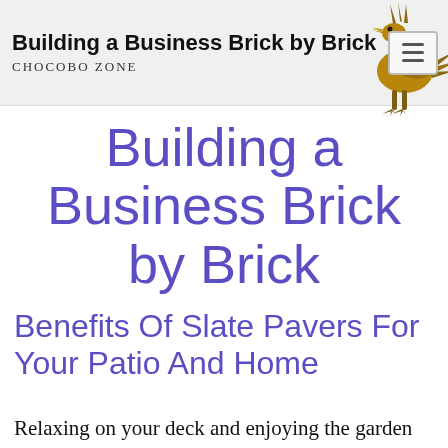Building a Business Brick by Brick — CHOCOBO ZONE
Building a Business Brick by Brick
Benefits Of Slate Pavers For Your Patio And Home
Relaxing on your deck and enjoying the garden